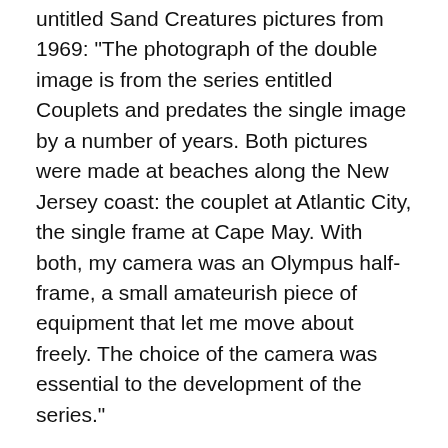untitled Sand Creatures pictures from 1969: "The photograph of the double image is from the series entitled Couplets and predates the single image by a number of years. Both pictures were made at beaches along the New Jersey coast: the couplet at Atlantic City, the single frame at Cape May. With both, my camera was an Olympus half-frame, a small amateurish piece of equipment that let me move about freely. The choice of the camera was essential to the development of the series."
Metzker has dedicated his career to exploring the formal potentials of black-and-white photography, but they are not his exclusive concern. "When you look at the multiples, you are aware of patterning and so forth," he says, "but there is still identifiable subject matter; frequently there are people there; there is a rhythm to those people." Metzker's 1959 thesis project, My Camera and I in the Loop, takes downtown Chicago as its subject, but renders it in experiments that tell more about photography than they do about the city. The pictures from this project were exhibited at the Art Institute